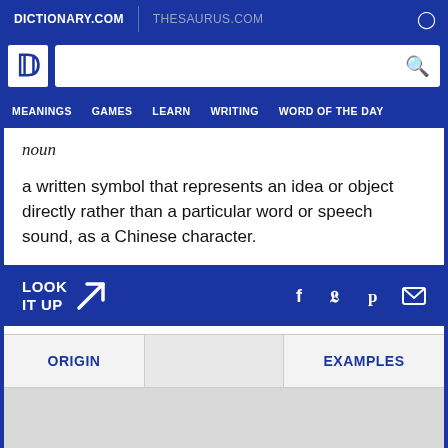DICTIONARY.COM | THESAURUS.COM
[Figure (logo): Dictionary.com logo - white D on blue background with search bar]
MEANINGS  GAMES  LEARN  WRITING  WORD OF THE DAY
noun
a written symbol that represents an idea or object directly rather than a particular word or speech sound, as a Chinese character.
LOOK IT UP
ORIGIN  EXAMPLES